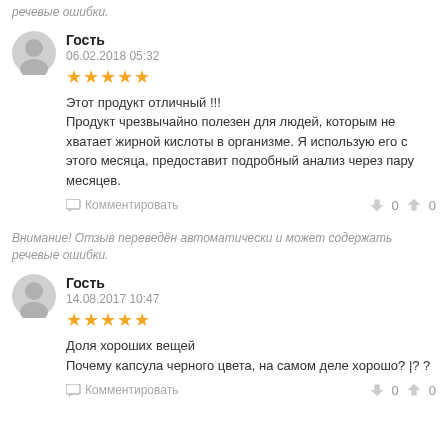речевые ошибки.
Гость
06.02.2018 05:32
★★★★★
Этот продукт отличный !!!
Продукт чрезвычайно полезен для людей, которым не хватает жирной кислоты в организме. Я использую его с этого месяца, предоставит подробный анализ через пару месяцев.
Комментировать
Внимание! Отзыв переведён автоматически и может содержать речевые ошибки.
Гость
14.08.2017 10:47
★★★★★
Доля хороших вещей
Почему капсула черного цвета, на самом деле хорошо? |? ?
Комментировать